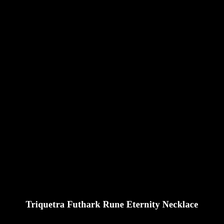[Figure (photo): Dark/black background product photo of a Triquetra Futhark Rune Eternity Necklace, largely obscured by darkness.]
Triquetra Futhark Rune Eternity Necklace